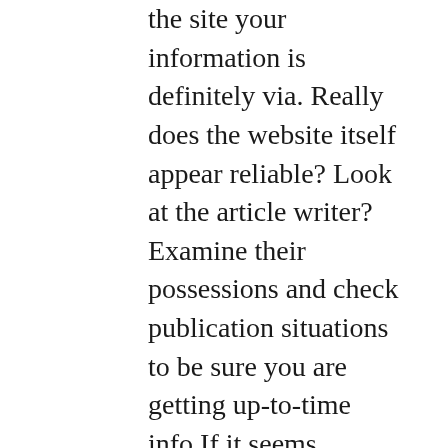the site your information is definitely via. Really does the website itself appear reliable? Look at the article writer? Examine their possessions and check publication situations to be sure you are getting up-to-time info.If it seems suspicious, determine when you're able to look for counter-best articles debunking the theories or analysis presented. If something seems doubtful, move ahead. You will discover plenty more publication ocean food in the